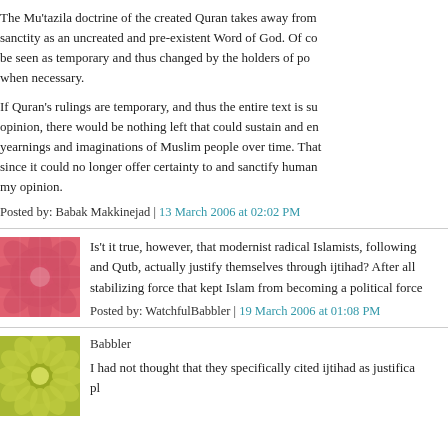The Mu'tazila doctrine of the created Quran takes away from sanctity as an uncreated and pre-existent Word of God. Of co be seen as temporary and thus changed by the holders of po when necessary.
If Quran's rulings are temporary, and thus the entire text is su opinion, there would be nothing left that could sustain and en yearnings and imaginations of Muslim people over time. That since it could no longer offer certainty to and sanctify human my opinion.
Posted by: Babak Makkinejad | 13 March 2006 at 02:02 PM
[Figure (illustration): Red/pink decorative floral/geometric pattern avatar image]
Is't it true, however, that modernist radical Islamists, following and Qutb, actually justify themselves through ijtihad? After all stabilizing force that kept Islam from becoming a political force
Posted by: WatchfulBabbler | 19 March 2006 at 01:08 PM
[Figure (illustration): Yellow/green decorative floral/geometric pattern avatar image]
Babbler
I had not thought that they specifically cited ijtihad as justifica pl